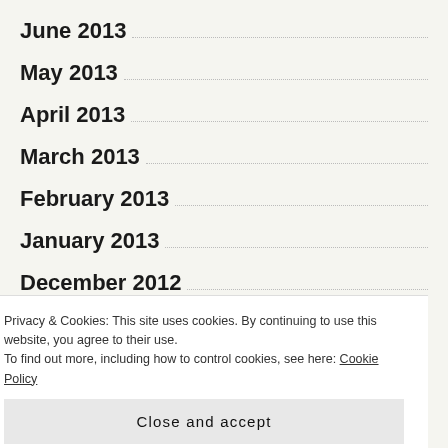June 2013
May 2013
April 2013
March 2013
February 2013
January 2013
December 2012
November 2012
Privacy & Cookies: This site uses cookies. By continuing to use this website, you agree to their use. To find out more, including how to control cookies, see here: Cookie Policy
Close and accept